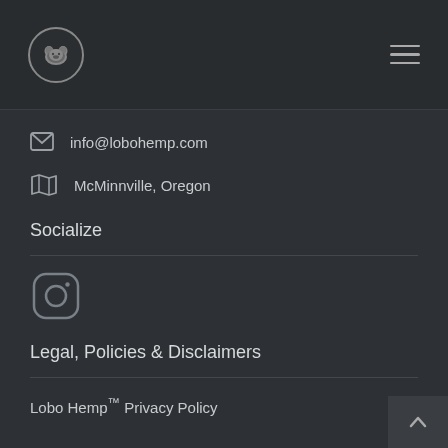Lobo Hemp logo and navigation menu
info@lobohemp.com
McMinnville, Oregon
Socialize
[Figure (logo): Instagram icon - rounded square with circle and dot]
Legal, Policies & Disclaimers
Lobo Hemp™ Privacy Policy